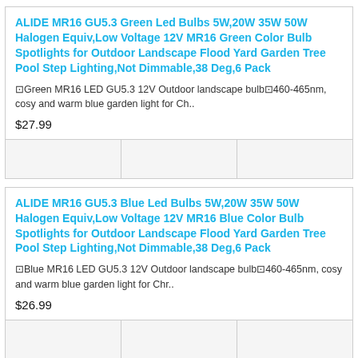ALIDE MR16 GU5.3 Green Led Bulbs 5W,20W 35W 50W Halogen Equiv,Low Voltage 12V MR16 Green Color Bulb Spotlights for Outdoor Landscape Flood Yard Garden Tree Pool Step Lighting,Not Dimmable,38 Deg,6 Pack
⊡Green MR16 LED GU5.3 12V Outdoor landscape bulb⊡460-465nm, cosy and warm blue garden light for Ch..
$27.99
ALIDE MR16 GU5.3 Blue Led Bulbs 5W,20W 35W 50W Halogen Equiv,Low Voltage 12V MR16 Blue Color Bulb Spotlights for Outdoor Landscape Flood Yard Garden Tree Pool Step Lighting,Not Dimmable,38 Deg,6 Pack
⊡Blue MR16 LED GU5.3 12V Outdoor landscape bulb⊡460-465nm, cosy and warm blue garden light for Chr..
$26.99